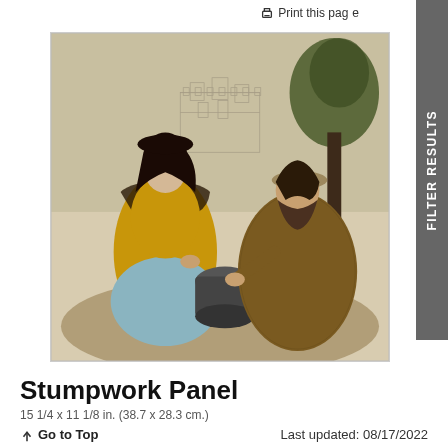Print this page
[Figure (photo): A stumpwork panel depicting two figures — a woman in a yellow and blue dress on the left and a bearded man in a fur-like robe on the right — meeting at a well, with a castle and trees in the background. The artwork appears to be raised embroidery work in earth tones.]
Stumpwork Panel
15 1/4 x 11 1/8 in. (38.7 x 28.3 cm.)
Go to Top   Last updated: 08/17/2022